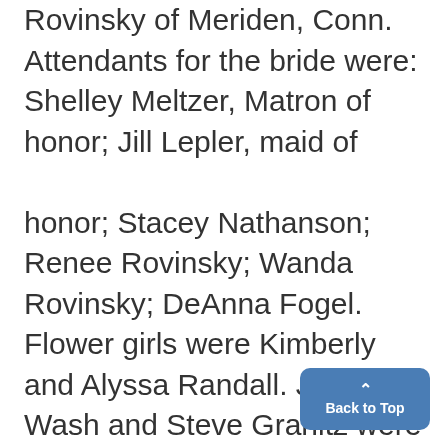Rovinsky of Meriden, Conn. Attendants for the bride were: Shelley Meltzer, Matron of honor; Jill Lepler, maid of honor; Stacey Nathanson; Renee Rovinsky; Wanda Rovinsky; DeAnna Fogel. Flower girls were Kimberly and Alyssa Randall. John Wash and Steve Granitz were the groom's best men. Groomsmen were Keith Nathanson, Scott Meltzer,